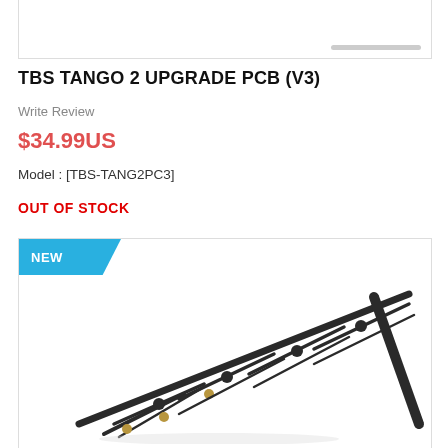[Figure (photo): Top portion of a product image box with a scrollbar visible at the bottom, partial product image cut off at top]
TBS TANGO 2 UPGRADE PCB (V3)
Write Review
$34.99US
Model : [TBS-TANG2PC3]
OUT OF STOCK
[Figure (photo): Product image of a Yagi-type directional antenna with multiple cross elements and a rod, shown at an angle on white background, with a 'NEW' badge in the top-left corner]